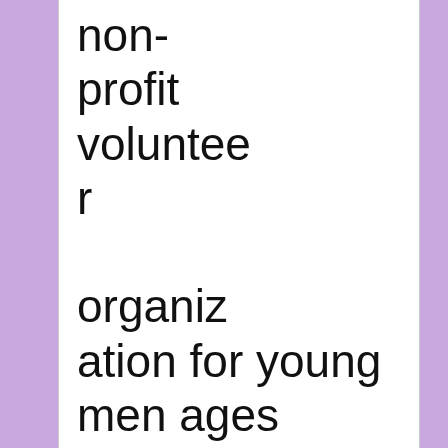non-profit volunteer organization for young men ages 11 - 18.
CLICK TO TWEET
4 Core Values: Integrity, Respect, Accountability and Loyalty.
" Young Kingz Inc. provides mentoring services to organizations. Their goal is to make services available